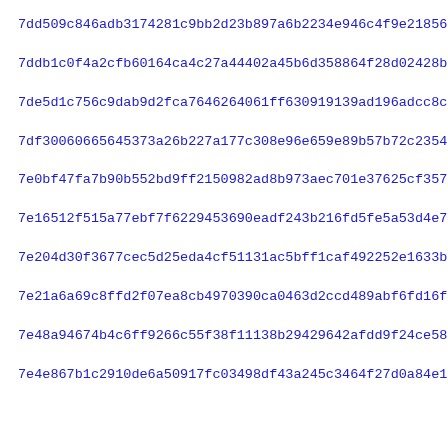7dd509c846adb3174281c9bb2d23b897a6b2234e946c4f9e21856a90c5182
7ddb1c0f4a2cfb60164ca4c27a44402a45b6d358864f28d02428b1fb91f23
7de5d1c756c9dab9d2fca7646264061ff630919139ad196adcc8cd5996d62
7df30060665645373a26b227a177c308e96e659e89b57b72c2354b2397c80
7e0bf47fa7b90b552bd9ff2150982ad8b973aec701e37625cf357f149e6ec
7e16512f515a77ebf7f6229453690eadf243b216fd5fe5a53d4e7068b6726
7e204d30f3677cec5d25eda4cf51131ac5bff1caf492252e1633bf22db18a
7e21a6a69c8ffd2f07ea8cb4970390ca0463d2ccd489abf6fd16f465a2f96
7e48a94674b4c6ff9266c55f38f11138b29429642afdd9f24ce58b1545204
7e4e867b1c2910de6a50917fc03498df43a245c3464f27d0a84e1825b2a8e